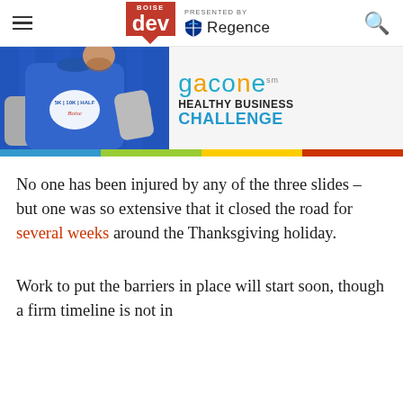Boise Dev — Presented by Regence
[Figure (photo): Advertisement banner showing a man in a blue running shirt with '5K | 10K | Half' race logo, alongside text reading 'garone HEALTHY BUSINESS CHALLENGE' with a colorful bar at the bottom.]
No one has been injured by any of the three slides – but one was so extensive that it closed the road for several weeks around the Thanksgiving holiday.
Work to put the barriers in place will start soon, though a firm timeline is not in